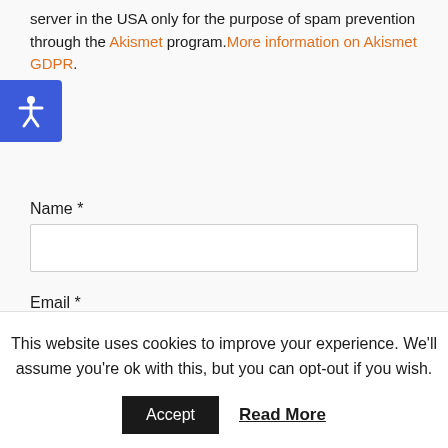server in the USA only for the purpose of spam prevention through the Akismet program. More information on Akismet GDPR.
[Figure (illustration): Blue accessibility icon button with a person/wheelchair symbol in white, positioned on the left edge of the page]
Name *
Email *
Website
This website uses cookies to improve your experience. We'll assume you're ok with this, but you can opt-out if you wish.
Accept   Read More